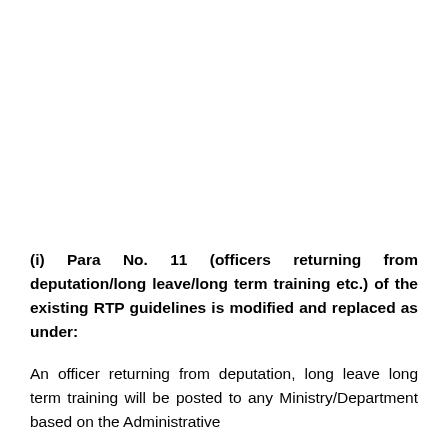(i) Para No. 11 (officers returning from deputation/long leave/long term training etc.) of the existing RTP guidelines is modified and replaced as under:
An officer returning from deputation, long leave long term training will be posted to any Ministry/Department based on the Administrative